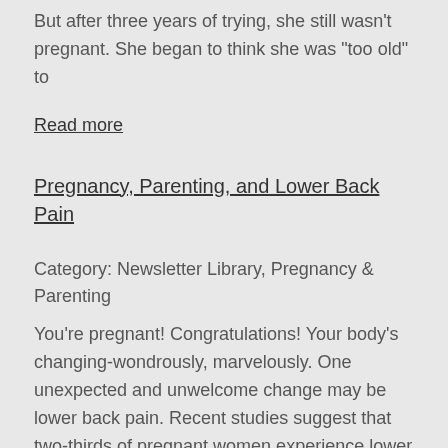But after three years of trying, she still wasn't pregnant. She began to think she was "too old" to
Read more
Pregnancy, Parenting, and Lower Back Pain
Category: Newsletter Library, Pregnancy & Parenting
You're pregnant! Congratulations! Your body's changing-wondrously, marvelously. One unexpected and unwelcome change may be lower back pain. Recent studies suggest that two-thirds of pregnant women experience lower back pain.1 These statistics seem reasonable. The weight of the growing baby, plus the